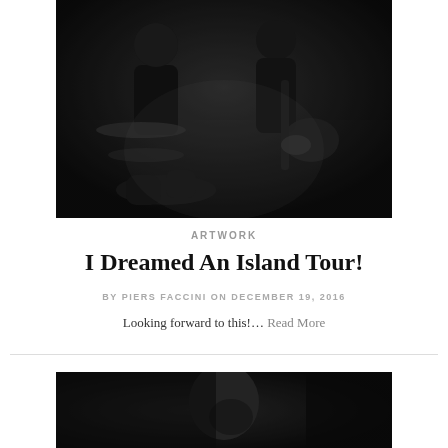[Figure (photo): Black and white photo of musicians performing on stage, one playing guitar and one at drum kit, dark atmospheric lighting]
ARTWORK
I Dreamed An Island Tour!
BY PIERS FACCINI ON DECEMBER 19, 2016
Looking forward to this!… Read More
[Figure (photo): Black and white photo of a man's face in partial profile, dark moody lighting against a stone wall background]